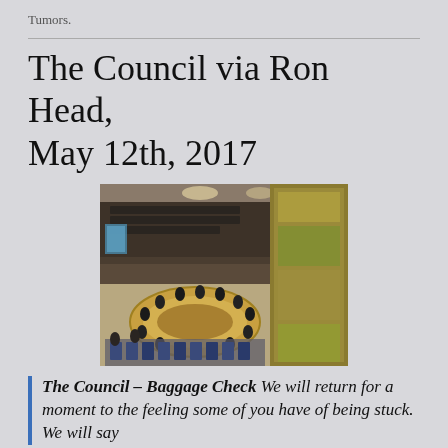Tumors.
The Council via Ron Head, May 12th, 2017
[Figure (photo): Wide-angle photograph of the United Nations Security Council chamber, showing the circular horseshoe table with delegates seated around it, gallery observers in background, and a large mural on the right wall.]
The Council – Baggage Check We will return for a moment to the feeling some of you have of being stuck. We will say